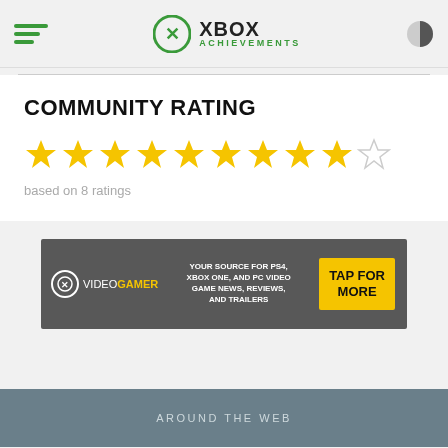XBOX ACHIEVEMENTS
COMMUNITY RATING
based on 8 ratings
[Figure (infographic): VideoGamer advertisement banner: dark gray background, VideoGamer logo on left, tagline 'YOUR SOURCE FOR PS4, XBOX ONE, AND PC VIDEO GAME NEWS, REVIEWS, AND TRAILERS' in center, yellow 'TAP FOR MORE' button on right]
AROUND THE WEB